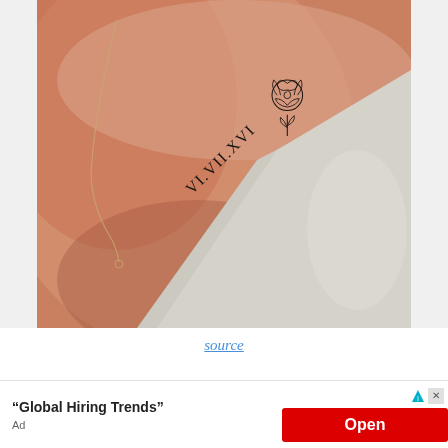[Figure (photo): Close-up photo of a person's collarbone/chest area showing a tattoo that reads 'VI.VII.XVI' with a small rose illustration, and a delicate gold necklace chain. The person is wearing a light gray tank top/camisole.]
source
[Figure (screenshot): Advertisement banner showing 'Global Hiring Trends' with an 'Open' button in red, ad choice icon and close (X) button in top right, and 'Ad' label at bottom left.]